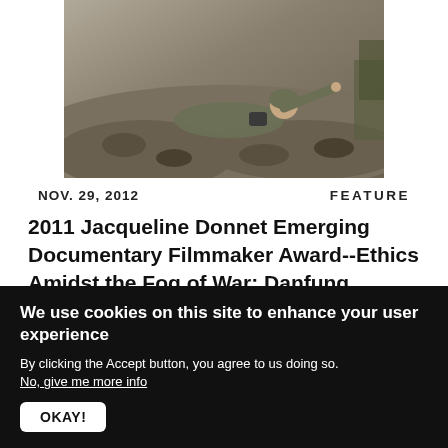[Figure (photo): A soldier in camouflage uniform lying on rocky ground, pointing with one arm while holding equipment, in a desert/arid environment.]
NOV. 29, 2012    FEATURE
2011 Jacqueline Donnet Emerging Documentary Filmmaker Award--Ethics Amidst the Fog of War: Danfung Dennis
We use cookies on this site to enhance your user experience
By clicking the Accept button, you agree to us doing so.
No, give me more info
OKAY!